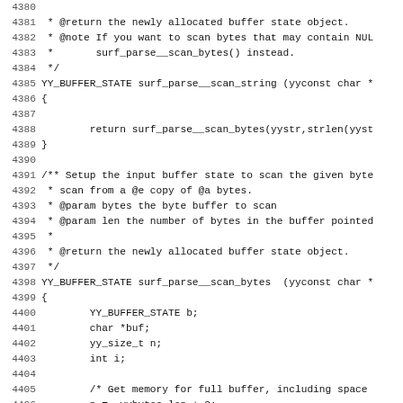Source code listing lines 4380-4412, showing C code for surf_parse__scan_string and surf_parse__scan_bytes functions including YY_BUFFER_STATE declarations, memory allocation, and buffer scanning logic.